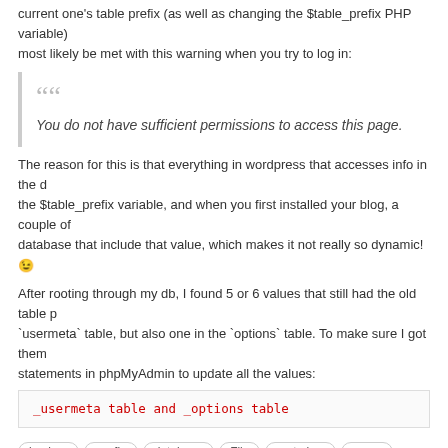current one's table prefix (as well as changing the $table_prefix PHP variable) most likely be met with this warning when you try to log in:
You do not have sufficient permissions to access this page.
The reason for this is that everything in wordpress that accesses info in the database uses the $table_prefix variable, and when you first installed your blog, a couple of values were added to the database that include that value, which makes it not really so dynamic! 😉
After rooting through my db, I found 5 or 6 values that still had the old table prefix, mainly in the `usermeta` table, but also one in the `options` table. To make sure I got them all, I ran the following statements in phpMyAdmin to update all the values:
_usermeta table and _options table
backup  config  database  File  meta key  name  PHP  phpmyadmin  prefix  upgrade  usermeta  warning  Wordpress  wp
Split Command Sample Code (VB NET)